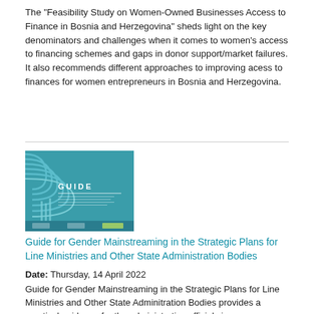The "Feasibility Study on Women-Owned Businesses Access to Finance in Bosnia and Herzegovina" sheds light on the key denominators and challenges when it comes to women's access to financing schemes and gaps in donor support/market failures. It also recommends different approaches to improving acess to finances for women entrepreneurs in Bosnia and Herzegovina.
[Figure (illustration): Cover image of a guide document with teal/blue background, curved lines design, and text 'GUIDE' with subtitle about gender mainstreaming in strategic plans for line ministries and Bosnia and Herzegovina administration bodies.]
Guide for Gender Mainstreaming in the Strategic Plans for Line Ministries and Other State Administration Bodies
Date: Thursday, 14 April 2022
Guide for Gender Mainstreaming in the Strategic Plans for Line Ministries and Other State Adminitration Bodies provides a practical guidance for the administrative officials in mainstreaming gender into the strategic planing and policy-making at the central level.